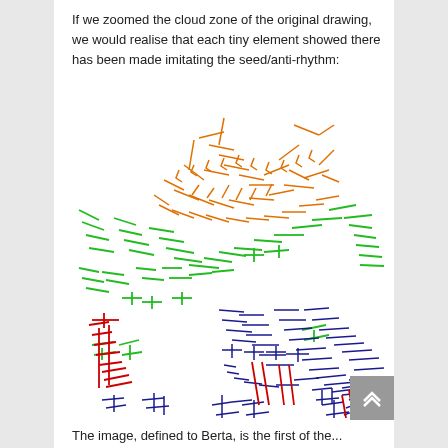If we zoomed the cloud zone of the original drawing, we would realise that each tiny element showed there has been made imitating the seed/anti-rhythm:
[Figure (illustration): A zoomed view of a cloud zone drawing showing many small hand-drawn stroke elements in orange, green, navy/dark blue, and red colors scattered across the image, imitating a seed/anti-rhythm pattern.]
The image, defined to Berta, is the first of the...